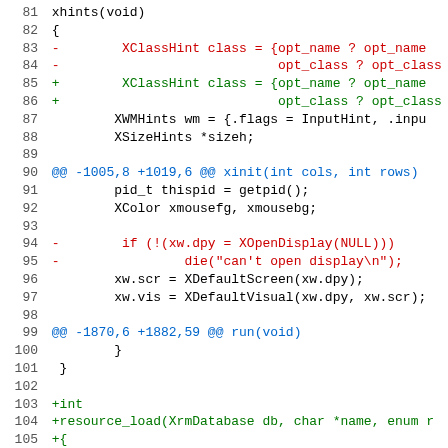Code diff showing changes to xhints, xinit, and run functions, plus new resource_load function. Lines 81-110.